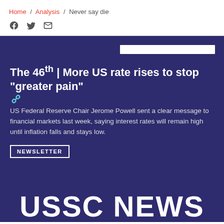Home / Analysis / Never say die
The 46th | More US rate rises to stop "greater pain"
US Federal Reserve Chair Jerome Powell sent a clear message to financial markets last week, saying interest rates will remain high until inflation falls and stays low.
NEWSLETTER
USSC NEWS